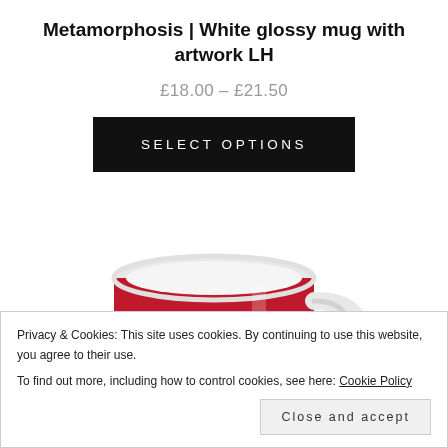Metamorphosis | White glossy mug with artwork LH
£18.00 – £21.50
SELECT OPTIONS
[Figure (photo): A red and white glossy ceramic mug, partially visible, showing the red exterior and white interior rim with a white handle on the right side.]
Privacy & Cookies: This site uses cookies. By continuing to use this website, you agree to their use.
To find out more, including how to control cookies, see here: Cookie Policy
Close and accept